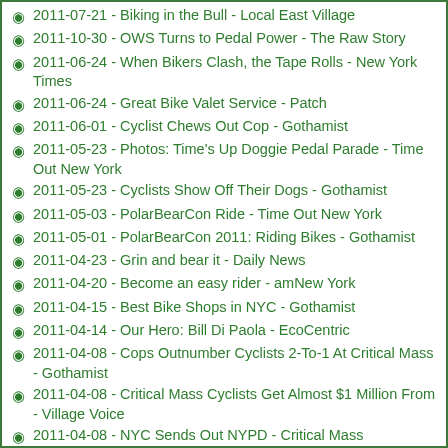2011-07-21 - Biking in the Bull - Local East Village
2011-10-30 - OWS Turns to Pedal Power - The Raw Story
2011-06-24 - When Bikers Clash, the Tape Rolls - New York Times
2011-06-24 - Great Bike Valet Service - Patch
2011-06-01 - Cyclist Chews Out Cop - Gothamist
2011-05-23 - Photos: Time's Up Doggie Pedal Parade - Time Out New York
2011-05-23 - Cyclists Show Off Their Dogs - Gothamist
2011-05-03 - PolarBearCon Ride - Time Out New York
2011-05-01 - PolarBearCon 2011: Riding Bikes - Gothamist
2011-04-23 - Grin and bear it - Daily News
2011-04-20 - Become an easy rider - amNew York
2011-04-15 - Best Bike Shops in NYC - Gothamist
2011-04-14 - Our Hero: Bill Di Paola - EcoCentric
2011-04-08 - Cops Outnumber Cyclists 2-To-1 At Critical Mass - Gothamist
2011-04-08 - Critical Mass Cyclists Get Almost $1 Million From - Village Voice
2011-04-08 - NYC Sends Out NYPD - Critical Mass Settlement Checks - Animal
2011-04-05 - Hear Anthony Scream - The New York Observer